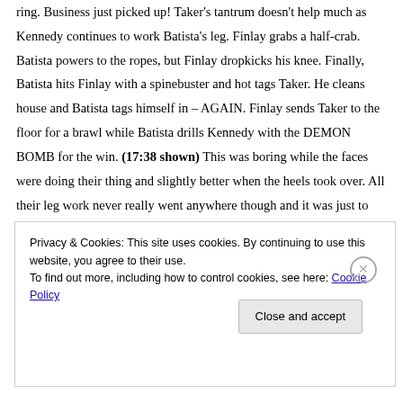ring. Business just picked up! Taker's tantrum doesn't help much as Kennedy continues to work Batista's leg. Finlay grabs a half-crab. Batista powers to the ropes, but Finlay dropkicks his knee. Finally, Batista hits Finlay with a spinebuster and hot tags Taker. He cleans house and Batista tags himself in – AGAIN. Finlay sends Taker to the floor for a brawl while Batista drills Kennedy with the DEMON BOMB for the win. (17:38 shown) This was boring while the faces were doing their thing and slightly better when the heels took over. All their leg work never really went anywhere though and it was just to build time. The point was to further the Taker versus Batista match for Backlash and I think it achieved what it set out to do. **½
Privacy & Cookies: This site uses cookies. By continuing to use this website, you agree to their use. To find out more, including how to control cookies, see here: Cookie Policy